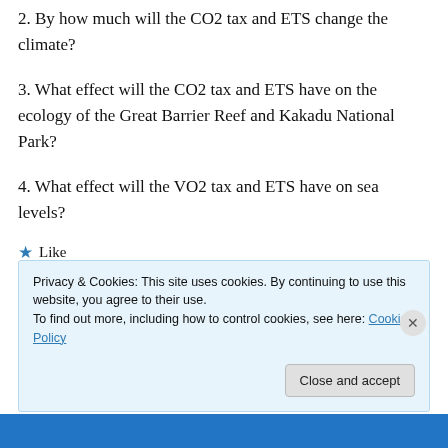2. By how much will the CO2 tax and ETS change the climate?
3. What effect will the CO2 tax and ETS have on the ecology of the Great Barrier Reef and Kakadu National Park?
4. What effect will the VO2 tax and ETS have on sea levels?
★ Like
↳ Reply
Privacy & Cookies: This site uses cookies. By continuing to use this website, you agree to their use.
To find out more, including how to control cookies, see here: Cookie Policy